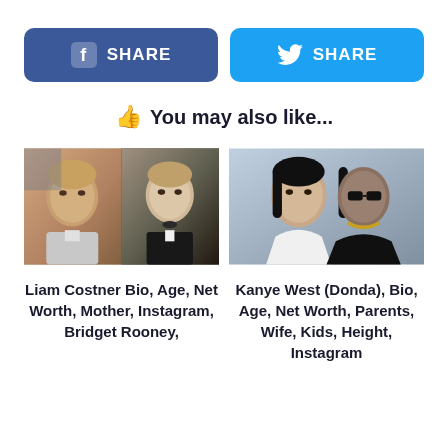[Figure (other): Facebook Share button (dark blue rounded rectangle with Facebook logo and SHARE text)]
[Figure (other): Twitter Share button (light blue rounded rectangle with Twitter bird logo and SHARE text)]
👍 You may also like...
[Figure (photo): Composite photo: Kevin Costner headshot on left, Liam Costner in tuxedo on right]
Liam Costner Bio, Age, Net Worth, Mother, Instagram, Bridget Rooney,
[Figure (photo): Photo of Kim Kardashian and Kanye West together at an event]
Kanye West (Donda), Bio, Age, Net Worth, Parents, Wife, Kids, Height, Instagram